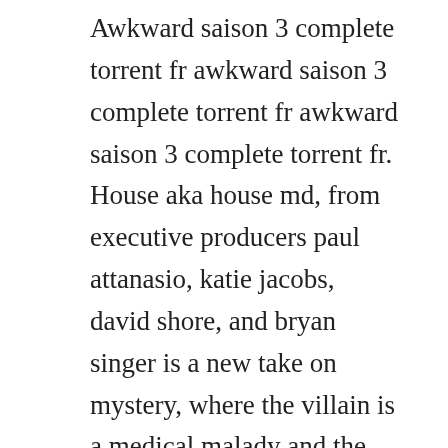Awkward saison 3 complete torrent fr awkward saison 3 complete torrent fr awkward saison 3 complete torrent fr. House aka house md, from executive producers paul attanasio, katie jacobs, david shore, and bryan singer is a new take on mystery, where the villain is a medical malady and the hero is an. House is an american television medical drama that originally ran on the fox network for eight seasons, from november 16, 2004 to may 21, 2012.

Click here and start watching the full episode